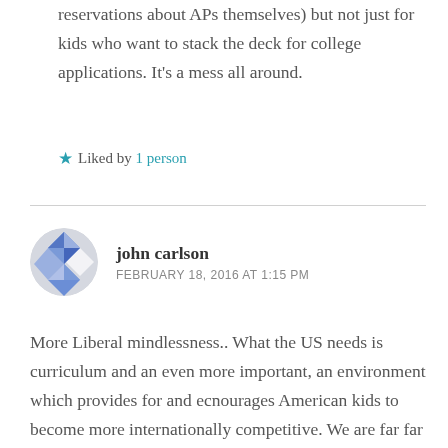reservations about APs themselves) but not just for kids who want to stack the deck for college applications. It's a mess all around.
Liked by 1 person
john carlson
FEBRUARY 18, 2016 AT 1:15 PM
More Liberal mindlessness.. What the US needs is curriculum and an even more important, an environment which provides for and ecnourages American kids to become more internationally competitive. We are far far behind many other nations(many of which who flood our universities